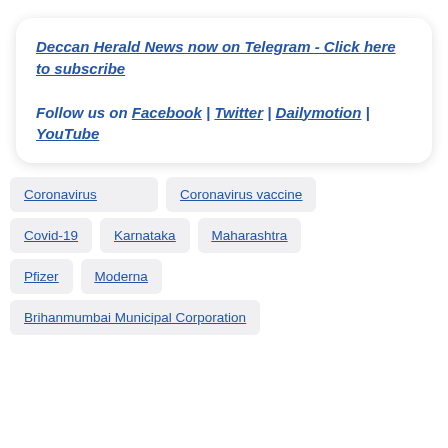Deccan Herald News now on Telegram - Click here to subscribe

Follow us on Facebook | Twitter | Dailymotion | YouTube
Coronavirus
Coronavirus vaccine
Covid-19
Karnataka
Maharashtra
Pfizer
Moderna
Brihanmumbai Municipal Corporation